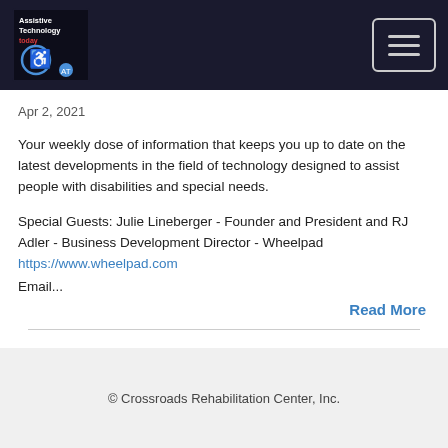Assistive Technology Today [logo] [menu button]
Apr 2, 2021
Your weekly dose of information that keeps you up to date on the latest developments in the field of technology designed to assist people with disabilities and special needs.
Special Guests: Julie Lineberger - Founder and President and RJ Adler - Business Development Director - Wheelpad
https://www.wheelpad.com
Email...
Read More
© Crossroads Rehabilitation Center, Inc.